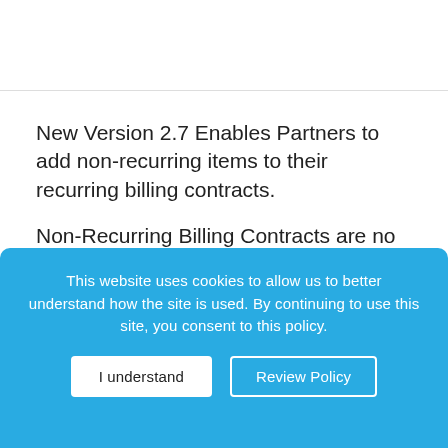New Version 2.7 Enables Partners to add non-recurring items to their recurring billing contracts.
Non-Recurring Billing Contracts are no longer required to invoice Non-Recurring Items. Non-Recurring items can now be added to Regular
This website uses cookies to allow us to better understand how the site is used. By continuing to use this site, you consent to this policy.